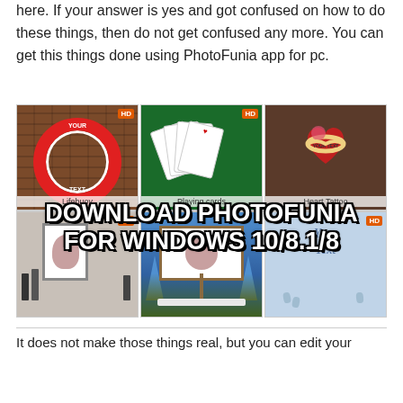here. If your answer is yes and got confused on how to do these things, then do not get confused any more. You can get this things done using PhotoFunia app for pc.
[Figure (photo): A 2x3 grid of PhotoFunia app template previews: Lifebuoy, Playing cards, Heart Tattoo, Gallery, Winter billboard, Snow text — with a large overlaid text banner reading 'DOWNLOAD PHOTOFUNIA FOR WINDOWS 10/8.1/8']
It does not make those things real, but you can edit your